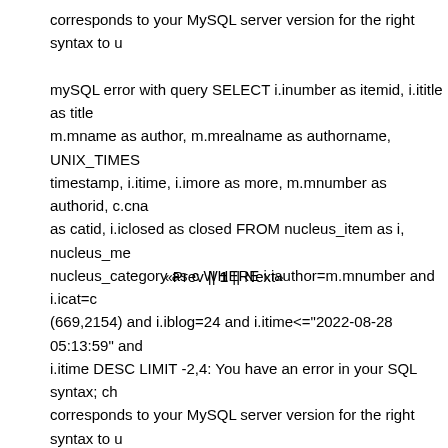corresponds to your MySQL server version for the right syntax to u mySQL error with query SELECT i.inumber as itemid, i.ititle as title m.mname as author, m.mrealname as authorname, UNIX_TIMES timestamp, i.itime, i.imore as more, m.mnumber as authorid, c.cna as catid, i.iclosed as closed FROM nucleus_item as i, nucleus_me nucleus_category as c WHERE i.iauthor=m.mnumber and i.icat=c (669,2154) and i.iblog=24 and i.itime<="2022-08-28 05:13:59" and i.itime DESC LIMIT -2,4: You have an error in your SQL syntax; ch corresponds to your MySQL server version for the right syntax to u
«Prev || 1 || Next»